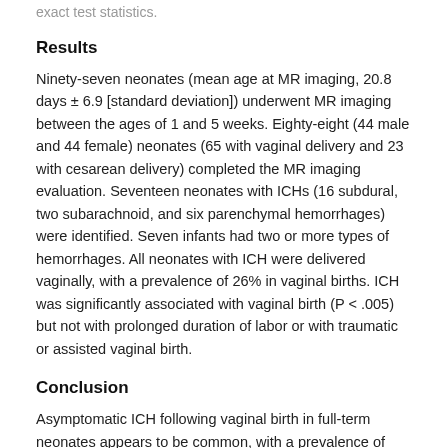exact test statistics.
Results
Ninety-seven neonates (mean age at MR imaging, 20.8 days ± 6.9 [standard deviation]) underwent MR imaging between the ages of 1 and 5 weeks. Eighty-eight (44 male and 44 female) neonates (65 with vaginal delivery and 23 with cesarean delivery) completed the MR imaging evaluation. Seventeen neonates with ICHs (16 subdural, two subarachnoid, and six parenchymal hemorrhages) were identified. Seven infants had two or more types of hemorrhages. All neonates with ICH were delivered vaginally, with a prevalence of 26% in vaginal births. ICH was significantly associated with vaginal birth (P < .005) but not with prolonged duration of labor or with traumatic or assisted vaginal birth.
Conclusion
Asymptomatic ICH following vaginal birth in full-term neonates appears to be common, with a prevalence of 26% in this study.